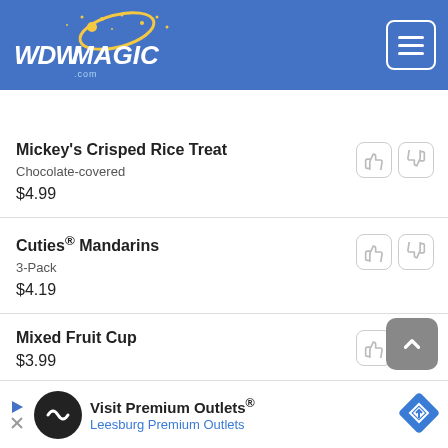WDWMagic - header bar with logo and hamburger menu
Snacks
Mickey's Crisped Rice Treat
Chocolate-covered
$4.99
Cuties® Mandarins
3-Pack
$4.19
Mixed Fruit Cup
$3.99
Doodle Muffin
$3.99
Snick...
$3.49
Visit Premium Outlets® Leesburg Premium Outlets